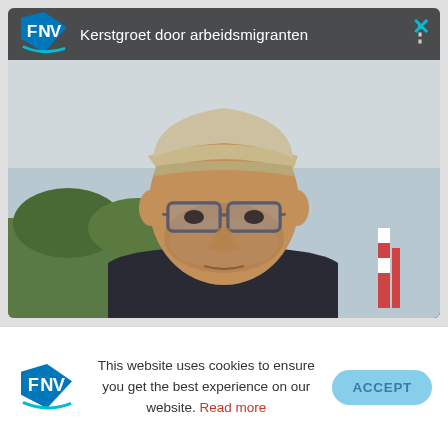[Figure (screenshot): A YouTube-style video embed showing a middle-aged man with a beige cap and glasses, outdoors. The video is from FNV (Dutch trade union) and is titled 'Kerstgroet door arbeidsmigranten'. The top bar shows the FNV logo, the video title, a three-dot menu, and a close (X) button in cyan.]
This website uses cookies to ensure you get the best experience on our website. Read more
ACCEPT